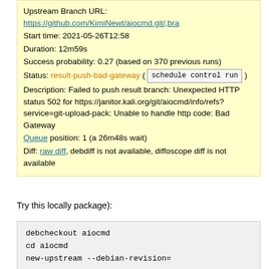Upstream Branch URL: https://github.com/KimiNewt/aiocmd.git/,bra Start time: 2021-05-26T12:58 Duration: 12m59s Success probability: 0.27 (based on 370 previous runs) Status: result-push-bad-gateway ( schedule control run ) Description: Failed to push result branch: Unexpected HTTP status 502 for https://janitor.kali.org/git/aiocmd/info/refs?service=git-upload-pack: Unable to handle http code: Bad Gateway Queue position: 1 (a 26m48s wait) Diff: raw diff, debdiff is not available, diffoscope diff is not available
Try this locally package):
debcheckout aiocmd
cd aiocmd
new-upstream --debian-revision=